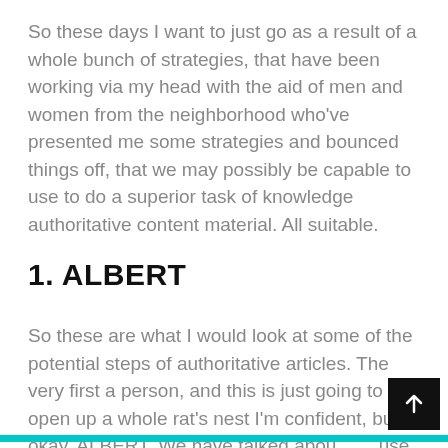So these days I want to just go as a result of a whole bunch of strategies, that have been working via my head with the aid of men and women from the neighborhood who've presented me some strategies and bounced things off, that we may possibly be capable to use to do a superior task of knowledge authoritative content material. All suitable.
1. ALBERT
So these are what I would look at some of the potential steps of authoritative articles. The very first a person, and this is just going to open up a whole rat's nest I'm confident, but okay, ALBERT. We have talked about the use of BERT for knowing language by Google. Effe...